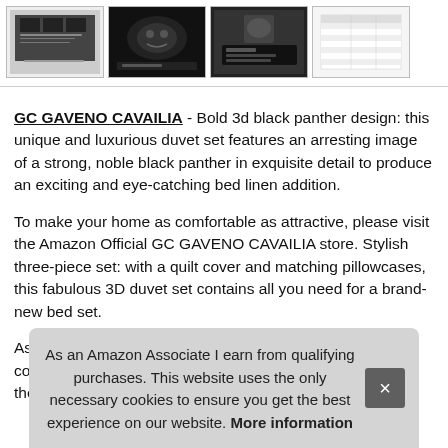[Figure (screenshot): Four product thumbnail images showing a black panther 3D duvet set from different angles and a sizing table]
GC GAVENO CAVAILIA - Bold 3d black panther design: this unique and luxurious duvet set features an arresting image of a strong, noble black panther in exquisite detail to produce an exciting and eye-catching bed linen addition.
To make your home as comfortable as attractive, please visit the Amazon Official GC GAVENO CAVAILIA store. Stylish three-piece set: with a quilt cover and matching pillowcases, this fabulous 3D duvet set contains all you need for a brand-new bed set.
As w... this... comfortable temperature so you can stay cosy throughout the
As an Amazon Associate I earn from qualifying purchases. This website uses the only necessary cookies to ensure you get the best experience on our website. More information